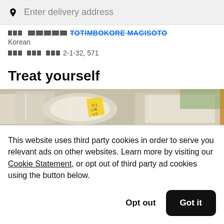Enter delivery address
TOTIMBOKORE MAGISOTO
Korean
2-1-32, 571
Treat yourself
[Figure (photo): Food items in plastic takeout containers, possibly Korean food, with a yellow sticky note label]
This website uses third party cookies in order to serve you relevant ads on other websites. Learn more by visiting our Cookie Statement, or opt out of third party ad cookies using the button below.
Opt out
Got it